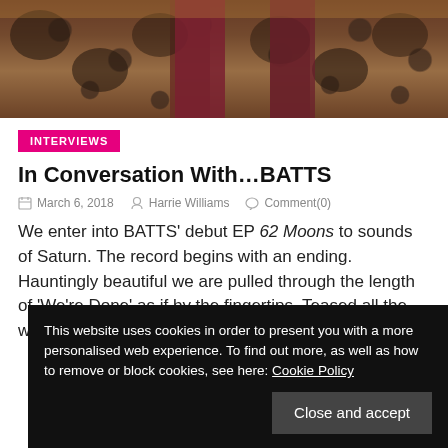[Figure (photo): Top portion of a decorative chair or sofa with dark floral/ornamental fabric pattern, dark red/maroon fabric visible in center]
INTERVIEWS
In Conversation With…BATTS
March 6, 2018   Harrie Williams   Comment(0)
We enter into BATTS' debut EP 62 Moons to sounds of Saturn. The record begins with an ending. Hauntingly beautiful we are pulled through the length of 'We're Done' as if by the fingertips. Teased all the way through by Tanya Batt's beautiful refrain.
This website uses cookies in order to present you with a more personalised web experience. To find out more, as well as how to remove or block cookies, see here: Cookie Policy